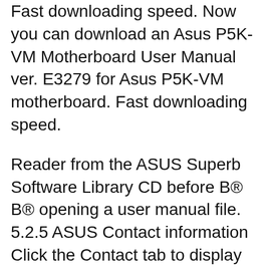Fast downloading speed. Now you can download an Asus P5K-VM Motherboard User Manual ver. E3279 for Asus P5K-VM motherboard. Fast downloading speed.
Reader from the ASUS Superb Software Library CD before B® B® opening a user manual file. 5.2.5 ASUS Contact information Click the Contact tab to display the ASUS contact information. You can also find this information on the inside front cover of this user guide. ASUS P5K SE/EPU... 06/11/2007B B· Asus p5k-e motherboard manual >> . Asus p5k-e motherboard manual >> [ Read Online ]. asus p5k motherboard manual. asus p5k drivers. asus p5k drivers windows 7. 6 Nov 2007 ASUS